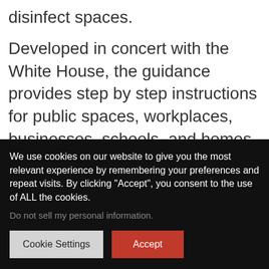disinfect spaces.
Developed in concert with the White House, the guidance provides step by step instructions for public spaces, workplaces, businesses, schools, and homes and falls in line with the Opening Up America Again guidelines.
“These guidelines will provide all Americans with
We use cookies on our website to give you the most relevant experience by remembering your preferences and repeat visits. By clicking “Accept”, you consent to the use of ALL the cookies.
Do not sell my personal information.
Cookie Settings    Accept